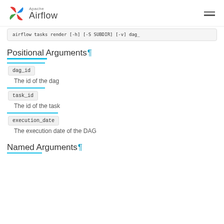Apache Airflow
airflow tasks render [-h] [-S SUBDIR] [-v] dag_id task_id execution_date
Positional Arguments
dag_id
The id of the dag
task_id
The id of the task
execution_date
The execution date of the DAG
Named Arguments